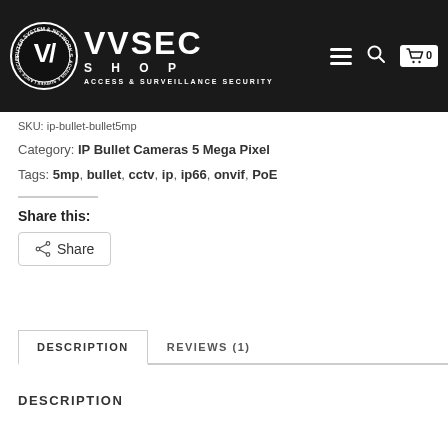[Figure (logo): VVSEC Shop logo — circular badge with white V/I monogram on black background, text 'VVSEC SHOP ACCESS & SURVEILLANCE SECURITY']
SKU: ip-bullet-bullet5mp
Category: IP Bullet Cameras 5 Mega Pixel
Tags: 5mp, bullet, cctv, ip, ip66, onvif, PoE
Share this:
Share
DESCRIPTION
REVIEWS (1)
DESCRIPTION